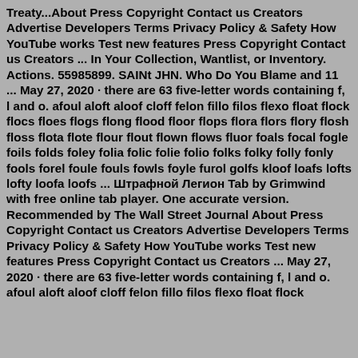Treaty...About Press Copyright Contact us Creators Advertise Developers Terms Privacy Policy & Safety How YouTube works Test new features Press Copyright Contact us Creators ... In Your Collection, Wantlist, or Inventory. Actions. 55985899. SAINt JHN. Who Do You Blame and 11 ... May 27, 2020 · there are 63 five-letter words containing f, l and o. afoul aloft aloof cloff felon fillo filos flexo float flock flocs floes flogs flong flood floor flops flora flors flory flosh floss flota flote flour flout flown flows fluor foals focal fogle foils folds foley folia folic folie folio folks folky folly fonly fools forel foule fouls fowls foyle furol golfs kloof loafs lofts lofty loofa loofs ... Штрафной Легион Tab by Grimwind with free online tab player. One accurate version. Recommended by The Wall Street Journal About Press Copyright Contact us Creators Advertise Developers Terms Privacy Policy & Safety How YouTube works Test new features Press Copyright Contact us Creators ... May 27, 2020 · there are 63 five-letter words containing f, l and o. afoul aloft aloof cloff felon fillo filos flexo float flock